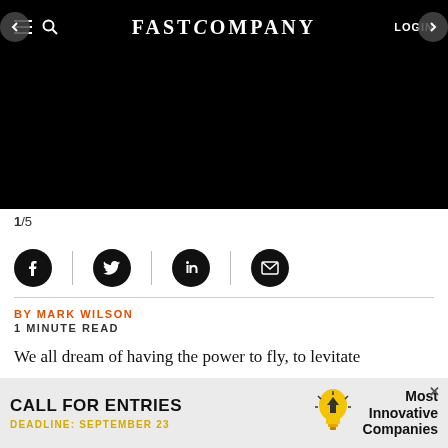FAST COMPANY  LOGIN
[Figure (photo): Black hero image panel, slide 1 of 5]
1/5
[Figure (infographic): Social share icons: Facebook, Twitter, LinkedIn, Email]
BY MARK WILSON
1 MINUTE READ
We all dream of having the power to fly, to levitate
[Figure (infographic): Advertisement banner: CALL FOR ENTRIES, DEADLINE: SEPTEMBER 23, Most Innovative Companies, lightbulb icon]